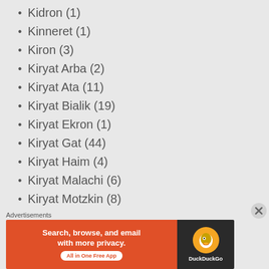Kidron (1)
Kinneret (1)
Kiron (3)
Kiryat Arba (2)
Kiryat Ata (11)
Kiryat Bialik (19)
Kiryat Ekron (1)
Kiryat Gat (44)
Kiryat Haim (4)
Kiryat Malachi (6)
Kiryat Motzkin (8)
Kiryat Ono (16)
Kiryat Sanz (2)
Kiryat Sefer (5)
Kiryat Shmona (8)
[Figure (advertisement): DuckDuckGo advertisement banner: Search, browse, and email with more privacy. All in One Free App. Shows DuckDuckGo logo on dark background.]